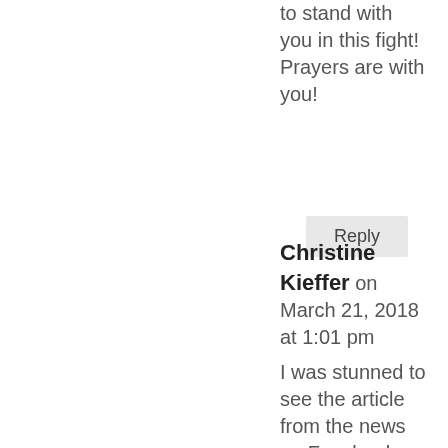to stand with you in this fight! Prayers are with you!
Reply
Christine Kieffer on March 21, 2018 at 1:01 pm
I was stunned to see the article from the news on Facebook. My heart aches for you, Pam. You put your heart and soul into this magnificent work of art. You have given of yourself, your time and talent to bring Shell Love Bug into being. It is shameful to see that after all the selfless promotion you have given to Lee County that they would do this to you, I just feel so sad that you were betrayed like this. Hang in there, Shell Sistah, right shell triumph! We are behind you 100%. Let us know if you